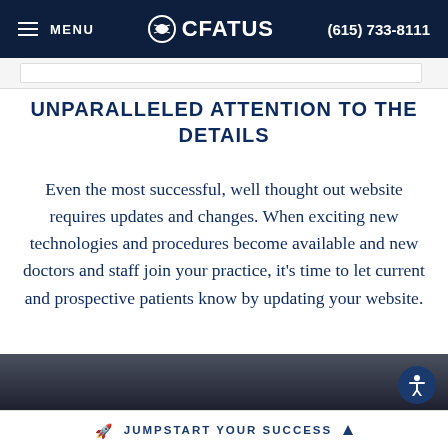MENU  CFATUS  (615) 733-8111
UNPARALLELED ATTENTION TO THE DETAILS
Even the most successful, well thought out website requires updates and changes. When exciting new technologies and procedures become available and new doctors and staff join your practice, it's time to let current and prospective patients know by updating your website.
[Figure (photo): Partial dark photo visible at bottom of content area]
JUMPSTART YOUR SUCCESS